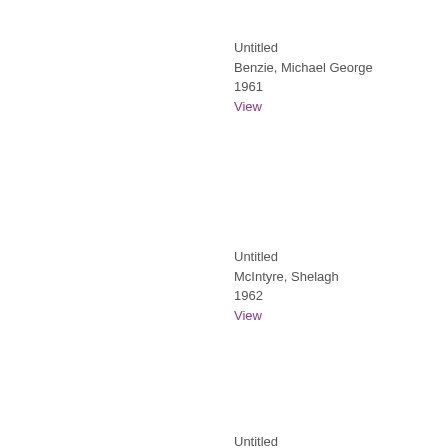Untitled
Benzie, Michael George
1961
View
Untitled
McIntyre, Shelagh
1962
View
Untitled